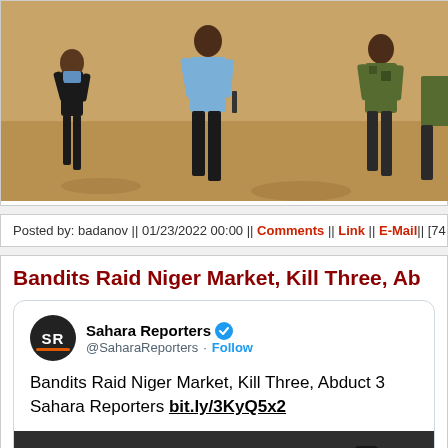[Figure (photo): Police or military officers walking on sandy ground, one wearing blue uniform, others in dark and camouflage uniforms]
Posted by: badanov || 01/23/2022 00:00 || Comments || Link || E-Mail|| [74 vie
Bandits Raid Niger Market, Kill Three, Ab
[Figure (screenshot): Tweet embed from Sahara Reporters (@SaharaReporters) with verified badge and Follow button, containing text: 'Bandits Raid Niger Market, Kill Three, Abduct 3... Sahara Reporters bit.ly/3KyQ5x2' and a partial thumbnail image below]
Bandits Raid Niger Market, Kill Three, Abduct 3... Sahara Reporters bit.ly/3KyQ5x2